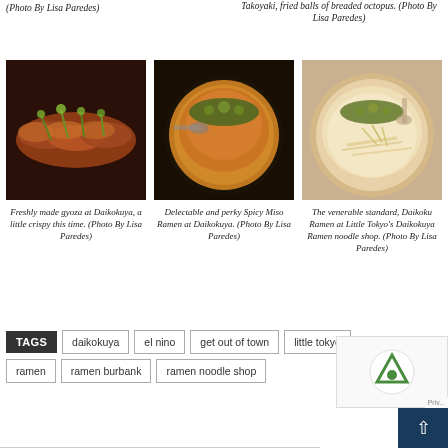(Photo By Lisa Paredes)
Takoyaki, fried balls of breaded octopus. (Photo By Lisa Paredes)
[Figure (photo): Freshly made gyoza on a dark tray, topped with green onions]
Freshly made gyoza at Daikokuya, a little crispy this time. (Photo By Lisa Paredes)
[Figure (photo): Spicy Miso Ramen in a black bowl with orange broth, topped with green onions]
Delectable and perky Spicy Miso Ramen at Daikokuya. (Photo By Lisa Paredes)
[Figure (photo): White tonkotsu ramen in a bowl topped with green onions and sprouts]
The venerable standard, Daikoku Ramen at Little Tokyo's Daikokuya Ramen noodle shop. (Photo By Lisa Paredes)
TAGS  daikokuya  el nino  get out of town  little tokyo  ramen  ramen burbank  ramen noodle shop